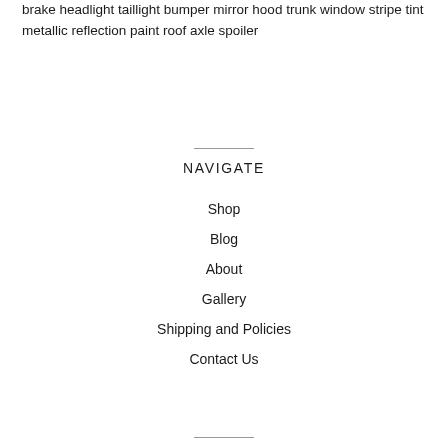brake headlight taillight bumper mirror hood trunk window stripe tint metallic reflection paint roof axle spoiler
NAVIGATE
Shop
Blog
About
Gallery
Shipping and Policies
Contact Us